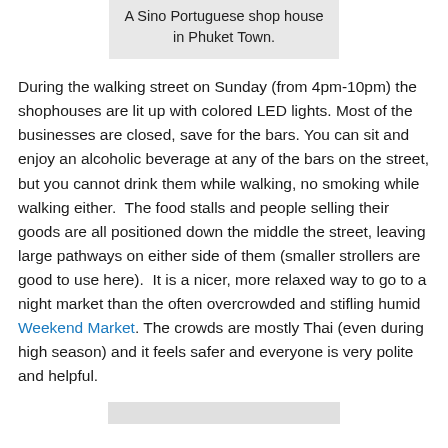A Sino Portuguese shop house in Phuket Town.
During the walking street on Sunday (from 4pm-10pm) the shophouses are lit up with colored LED lights. Most of the businesses are closed, save for the bars. You can sit and enjoy an alcoholic beverage at any of the bars on the street, but you cannot drink them while walking, no smoking while walking either.  The food stalls and people selling their goods are all positioned down the middle the street, leaving large pathways on either side of them (smaller strollers are good to use here).  It is a nicer, more relaxed way to go to a night market than the often overcrowded and stifling humid Weekend Market. The crowds are mostly Thai (even during high season) and it feels safer and everyone is very polite and helpful.
[Figure (photo): Bottom portion of an image, shown as a gray box at bottom of page]